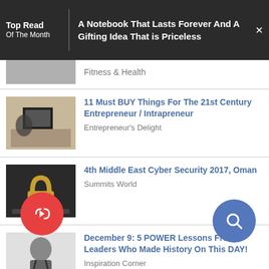Top Read Of The Month — A Notebook That Lasts Forever And A Gifting Idea That is Priceless
Fitness & Health
11 Must BUY Things For The 21st Century Entrepreneur / Intrapreneur — Entrepreneur's Delight
4th Middle East Cyber Security 2017, Oman — Summits World
December 9: 5 POWER Lessons From 5 Leaders Who Made History On This DAY! — Inspiration Corner
Most Loved On iU
Tips to Remember When Planning to Start an